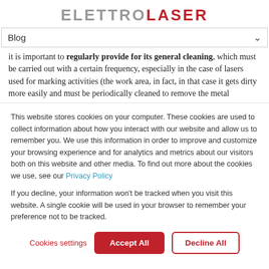ELETTROLASER
Blog
it is important to regularly provide for its general cleaning, which must be carried out with a certain frequency, especially in the case of lasers used for marking activities (the work area, in fact, in that case it gets dirty more easily and must be periodically cleaned to remove the metal
This website stores cookies on your computer. These cookies are used to collect information about how you interact with our website and allow us to remember you. We use this information in order to improve and customize your browsing experience and for analytics and metrics about our visitors both on this website and other media. To find out more about the cookies we use, see our Privacy Policy
If you decline, your information won't be tracked when you visit this website. A single cookie will be used in your browser to remember your preference not to be tracked.
Cookies settings | Accept All | Decline All